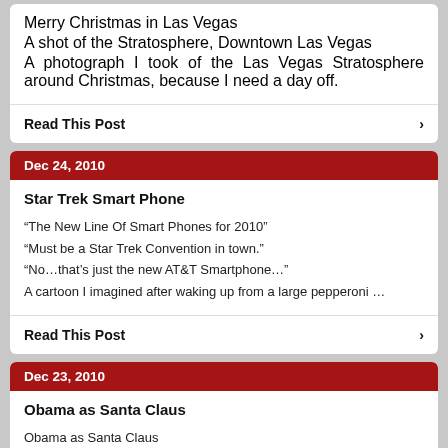Merry Christmas in Las Vegas
A shot of the Stratosphere, Downtown Las Vegas
A photograph I took of the Las Vegas Stratosphere around Christmas, because I need a day off.
Read This Post
Dec 24, 2010
Star Trek Smart Phone
“The New Line Of Smart Phones for 2010”
“Must be a Star Trek Convention in town.”
“No…that’s just the new AT&T Smartphone…”
A cartoon I imagined after waking up from a large pepperoni …
Read This Post
Dec 23, 2010
Obama as Santa Claus
Obama as Santa Claus
“For Christmas I want my daddy to get a job so we can move out of our car, and that healthcare you promised!”
This is only taken to…